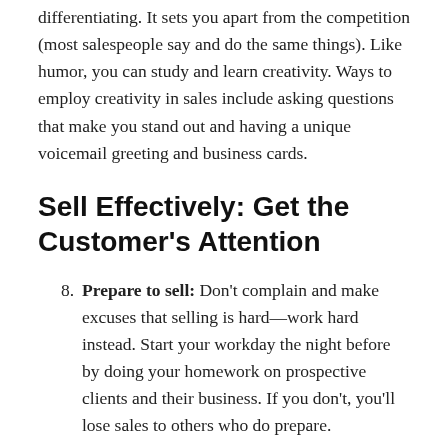differentiating. It sets you apart from the competition (most salespeople say and do the same things). Like humor, you can study and learn creativity. Ways to employ creativity in sales include asking questions that make you stand out and having a unique voicemail greeting and business cards.
Sell Effectively: Get the Customer's Attention
8. Prepare to sell: Don't complain and make excuses that selling is hard—work hard instead. Start your workday the night before by doing your homework on prospective clients and their business. If you don't, you'll lose sales to others who do prepare.